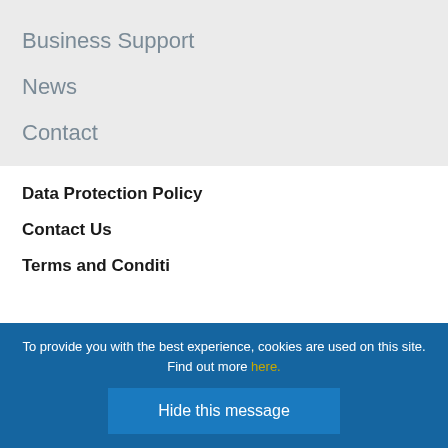Business Support
News
Contact
Data Protection Policy
Contact Us
Terms and Conditions
To provide you with the best experience, cookies are used on this site. Find out more here.
Hide this message